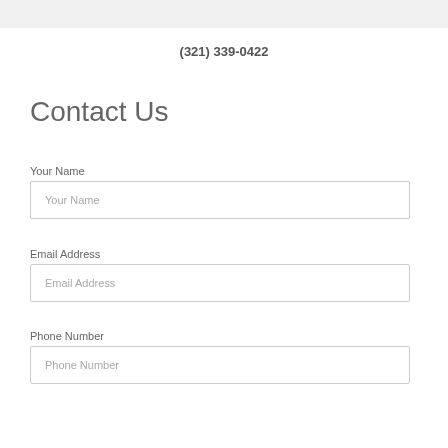(321) 339-0422
Contact Us
Your Name
Your Name
Email Address
Email Address
Phone Number
Phone Number